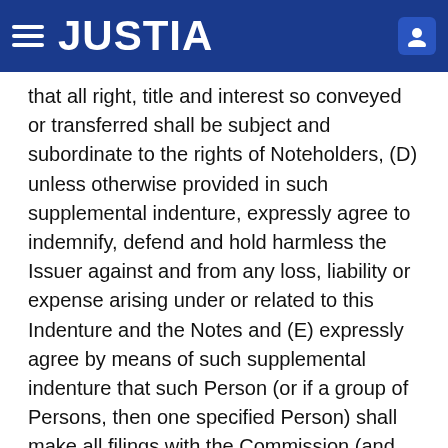JUSTIA
that all right, title and interest so conveyed or transferred shall be subject and subordinate to the rights of Noteholders, (D) unless otherwise provided in such supplemental indenture, expressly agree to indemnify, defend and hold harmless the Issuer against and from any loss, liability or expense arising under or related to this Indenture and the Notes and (E) expressly agree by means of such supplemental indenture that such Person (or if a group of Persons, then one specified Person) shall make all filings with the Commission (and any other appropriate Person) required by the Exchange Act in connection with the Notes;
(ii)    immediately after giving effect to such transaction, no Default or Event of Default